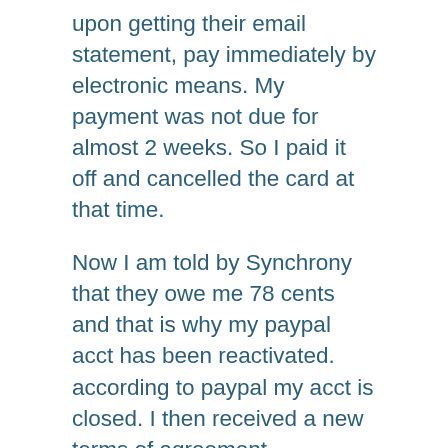upon getting their email statement, pay immediately by electronic means. My payment was not due for almost 2 weeks. So I paid it off and cancelled the card at that time.
Now I am told by Synchrony that they owe me 78 cents and that is why my paypal acct has been reactivated. according to paypal my acct is closed. I then received a new terms of agreement, statement and a check for 78 cents. How can an acct that I closed suddenly be reopened and what can I do to remove my personal information from a closed acct?
I called paypal they said my account was closed.
I called Synchrony they said the acct would be closed again, if I wished, but I need the credit don't